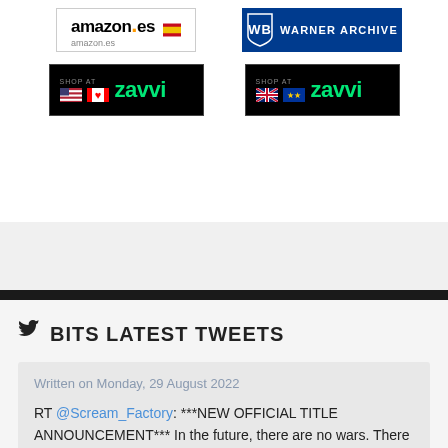[Figure (logo): Amazon.es logo with Spanish flag]
[Figure (logo): Warner Archive logo in blue]
[Figure (logo): Shop at Zavvi logo with US and Canada flags]
[Figure (logo): Shop at Zavvi logo with UK and EU flags]
BITS LATEST TWEETS
Written on Monday, 29 August 2022
RT @Scream_Factory: ***NEW OFFICIAL TITLE ANNOUNCEMENT*** In the future, there are no wars. There is no crime. There is only... the Game....